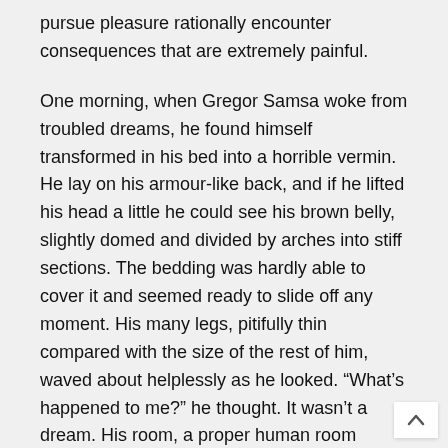pursue pleasure rationally encounter consequences that are extremely painful.
One morning, when Gregor Samsa woke from troubled dreams, he found himself transformed in his bed into a horrible vermin. He lay on his armour-like back, and if he lifted his head a little he could see his brown belly, slightly domed and divided by arches into stiff sections. The bedding was hardly able to cover it and seemed ready to slide off any moment. His many legs, pitifully thin compared with the size of the rest of him, waved about helplessly as he looked. “What’s happened to me?” he thought. It wasn’t a dream. His room, a proper human room although a little